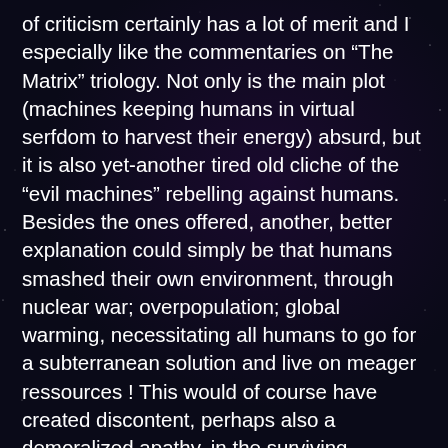of criticism certainly has a lot of merit and I especially like the commentaries on “The Matrix” triology. Not only is the main plot (machines keeping humans in virtual serfdom to harvest their energy) absurd, but it is also yet-another tired old cliche of the “evil machines” rebelling against humans. Besides the ones offered, another, better explanation could simply be that humans smashed their own environment, through nuclear war; overpopulation; global warming, necessitating all humans to go for a subterranean solution and live on meager ressources ! This would of course have created discontent, perhaps also a demoralized apathy, in the surviving population, and to prevent that and make optimum use of limited ressources, the machines, working on a mandate to “preserve